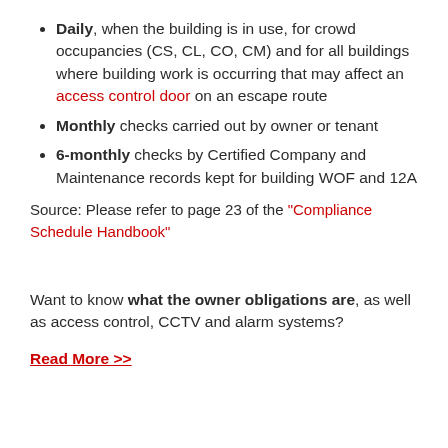Daily, when the building is in use, for crowd occupancies (CS, CL, CO, CM) and for all buildings where building work is occurring that may affect an access control door on an escape route
Monthly checks carried out by owner or tenant
6-monthly checks by Certified Company and Maintenance records kept for building WOF and 12A
Source: Please refer to page 23 of the "Compliance Schedule Handbook"
Want to know what the owner obligations are, as well as access control, CCTV and alarm systems?
Read More >>